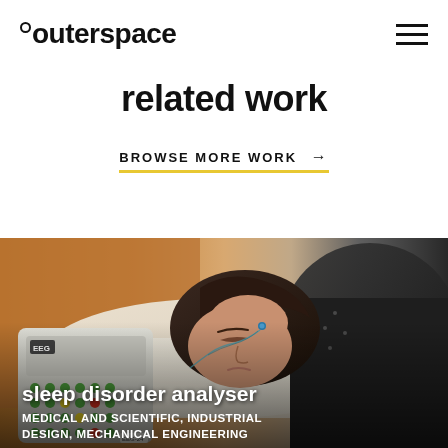°outerspace
related work
BROWSE MORE WORK →
[Figure (photo): A person lying down with EEG electrodes attached, next to a medical EEG/sleep analysis device with a green button grid. Text overlay reads 'sleep disorder analyser' and 'MEDICAL AND SCIENTIFIC, INDUSTRIAL DESIGN, MECHANICAL ENGINEERING']